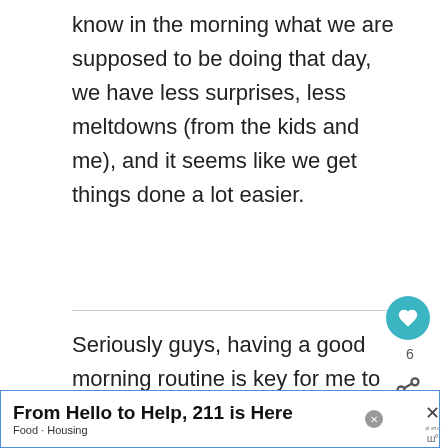know in the morning what we are supposed to be doing that day, we have less surprises, less meltdowns (from the kids and me), and it seems like we get things done a lot easier.
Seriously guys, having a good morning routine is key for me to be good wife and mom. I have implemented these things in my
[Figure (other): Social sharing UI: heart/like button (teal circle with heart icon, count 6), share button]
[Figure (other): What's Next thumbnail box with book image and text: WHAT'S NEXT → Am I doing this MOM...]
From Hello to Help, 211 is Here  Food · Housing